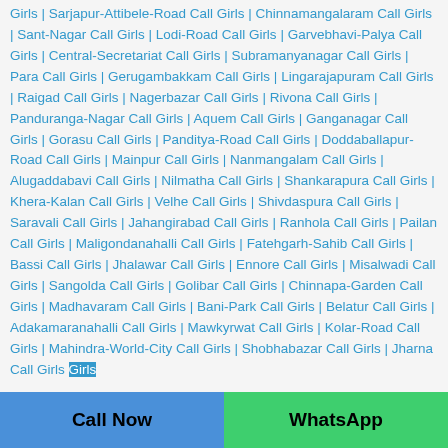Girls | Sarjapur-Attibele-Road Call Girls | Chinnamangalaram Call Girls | Sant-Nagar Call Girls | Lodi-Road Call Girls | Garvebhavi-Palya Call Girls | Central-Secretariat Call Girls | Subramanyanagar Call Girls | Para Call Girls | Gerugambakkam Call Girls | Lingarajapuram Call Girls | Raigad Call Girls | Nagerbazar Call Girls | Rivona Call Girls | Panduranga-Nagar Call Girls | Aquem Call Girls | Ganganagar Call Girls | Gorasu Call Girls | Panditya-Road Call Girls | Doddaballapur-Road Call Girls | Mainpur Call Girls | Nanmangalam Call Girls | Alugaddabavi Call Girls | Nilmatha Call Girls | Shankarapura Call Girls | Khera-Kalan Call Girls | Velhe Call Girls | Shivdaspura Call Girls | Saravali Call Girls | Jahangirabad Call Girls | Ranhola Call Girls | Pailan Call Girls | Maligondanahalli Call Girls | Fatehgarh-Sahib Call Girls | Bassi Call Girls | Jhalawar Call Girls | Ennore Call Girls | Misalwadi Call Girls | Sangolda Call Girls | Golibar Call Girls | Chinnapa-Garden Call Girls | Madhavaram Call Girls | Bani-Park Call Girls | Belatur Call Girls | Adakamaranahalli Call Girls | Mawkyrwat Call Girls | Kolar-Road Call Girls | Mahindra-World-City Call Girls | Shobhabazar Call Girls | Jharna Call Girls
Call Now | WhatsApp